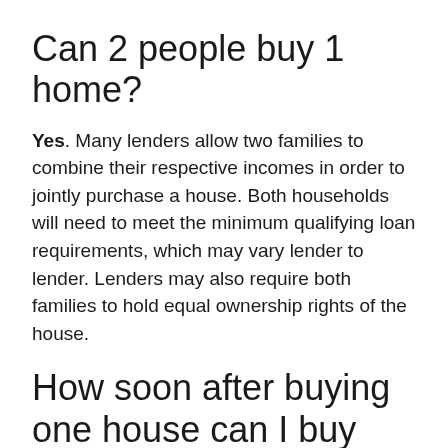Can 2 people buy 1 home?
Yes. Many lenders allow two families to combine their respective incomes in order to jointly purchase a house. Both households will need to meet the minimum qualifying loan requirements, which may vary lender to lender. Lenders may also require both families to hold equal ownership rights of the house.
How soon after buying one house can I buy another?
In most cases, there is no set amount of time that you must wait before you're